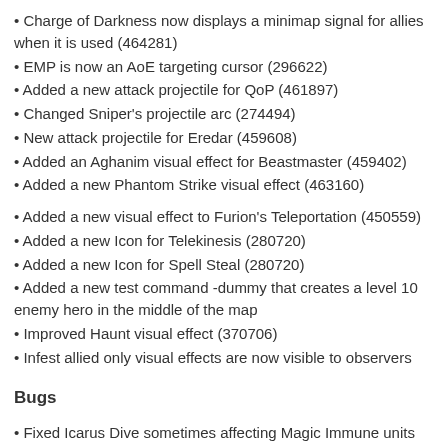Charge of Darkness now displays a minimap signal for allies when it is used (464281)
EMP is now an AoE targeting cursor (296622)
Added a new attack projectile for QoP (461897)
Changed Sniper's projectile arc (274494)
New attack projectile for Eredar (459608)
Added an Aghanim visual effect for Beastmaster (459402)
Added a new Phantom Strike visual effect (463160)
Added a new visual effect to Furion's Teleportation (450559)
Added a new Icon for Telekinesis (280720)
Added a new Icon for Spell Steal (280720)
Added a new test command -dummy that creates a level 10 enemy hero in the middle of the map
Improved Haunt visual effect (370706)
Infest allied only visual effects are now visible to observers
Bugs
Fixed Icarus Dive sometimes affecting Magic Immune units for a short duration